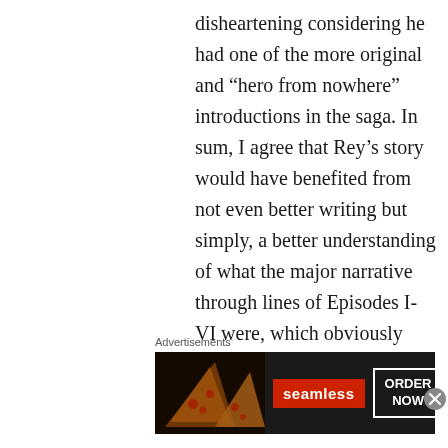disheartening considering he had one of the more original and “hero from nowhere” introductions in the saga. In sum, I agree that Rey’s story would have benefited from not even better writing but simply, a better understanding of what the major narrative through lines of Episodes I-VI were, which obviously brings
Advertisements
[Figure (other): Seamless food delivery advertisement banner showing pizza slices on the left, a red Seamless logo in the center, and an 'ORDER NOW' button on the right against a dark background.]